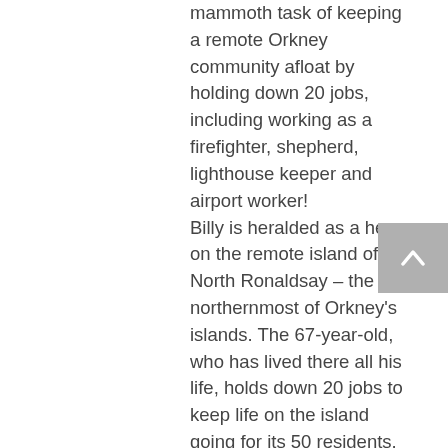mammoth task of keeping a remote Orkney community afloat by holding down 20 jobs, including working as a firefighter, shepherd, lighthouse keeper and airport worker! Billy is heralded as a hero on the remote island of North Ronaldsay – the northernmost of Orkney's islands. The 67-year-old, who has lived there all his life, holds down 20 jobs to keep life on the island going for its 50 residents. Billy is the airport baggage handler, electrician, builder, rubbish collector and he has his own flock of rare breed sheep. He also runs the island gift shop, is employed as the local tour guide and chairs the community council. He is also a retained...